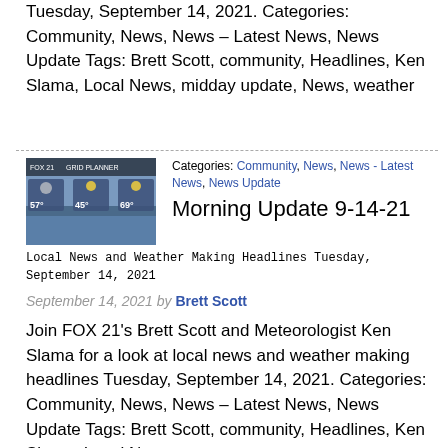Tuesday, September 14, 2021. Categories: Community, News, News – Latest News, News Update Tags: Brett Scott, community, Headlines, Ken Slama, Local News, midday update, News, weather
[Figure (photo): Weather forecast image showing temperatures 57°, 45°, 69° with weather icons and a scenic background]
Categories: Community, News, News - Latest News, News Update
Morning Update 9-14-21
Local News and Weather Making Headlines Tuesday, September 14, 2021
September 14, 2021 by Brett Scott
Join FOX 21's Brett Scott and Meteorologist Ken Slama for a look at local news and weather making headlines Tuesday, September 14, 2021. Categories: Community, News, News – Latest News, News Update Tags: Brett Scott, community, Headlines, Ken Slama, Local News,